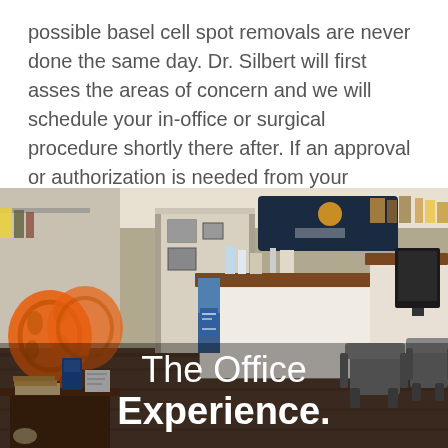possible basel cell spot removals are never done the same day. Dr. Silbert will first asses the areas of concern and we will schedule your in-office or surgical procedure shortly there after. If an approval or authorization is needed from your insurance this must be obtained before your procedure is done.
[Figure (photo): Interior photo of a medical office reception area with a front desk counter, orange decorative chairs in the waiting area, gray office chairs, brochures, and a logo sign. Text overlay reads 'The Office Experience.']